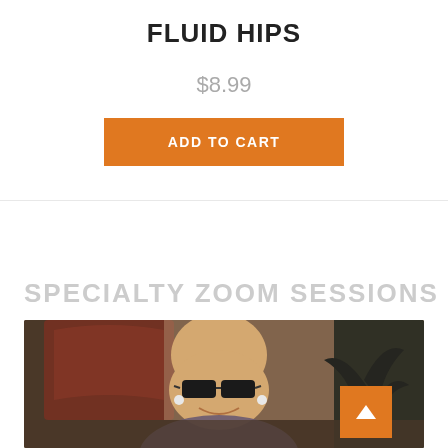FLUID HIPS
$8.99
ADD TO CART
SPECIALTY ZOOM SESSIONS
[Figure (photo): A bald man with glasses smiling, shown in a video call screenshot. Behind him is a decorative reddish wall piece and a plant. An orange back-to-top arrow button is visible in the bottom right corner of the image.]